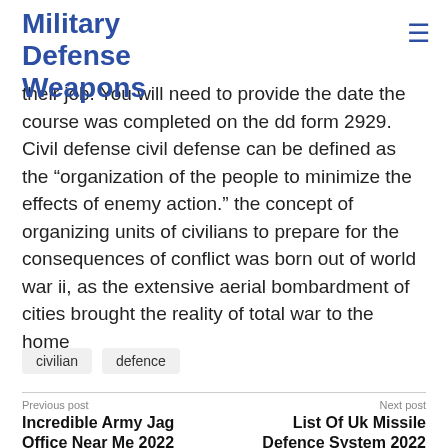Military Defense Weapons
their job. You will need to provide the date the course was completed on the dd form 2929. Civil defense civil defense can be defined as the “organization of the people to minimize the effects of enemy action.” the concept of organizing units of civilians to prepare for the consequences of conflict was born out of world war ii, as the extensive aerial bombardment of cities brought the reality of total war to the home
civilian
defence
Previous post
Incredible Army Jag Office Near Me 2022
Next post
List Of Uk Missile Defence System 2022
Related Posts